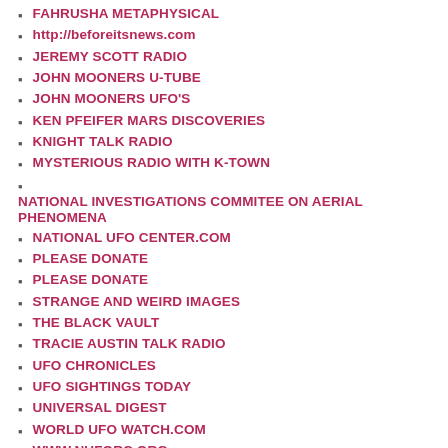FAHRUSHA METAPHYSICAL
http://beforeitsnews.com
JEREMY SCOTT RADIO
JOHN MOONERS U-TUBE
JOHN MOONERS UFO'S
KEN PFEIFER MARS DISCOVERIES
KNIGHT TALK RADIO
MYSTERIOUS RADIO WITH K-TOWN
NATIONAL INVESTIGATIONS COMMITEE ON AERIAL PHENOMENA
NATIONAL UFO CENTER.COM
PLEASE DONATE
PLEASE DONATE
STRANGE AND WEIRD IMAGES
THE BLACK VAULT
TRACIE AUSTIN TALK RADIO
UFO CHRONICLES
UFO SIGHTINGS TODAY
UNIVERSAL DIGEST
WORLD UFO WATCH.COM
WWW.NUFORC.ORG